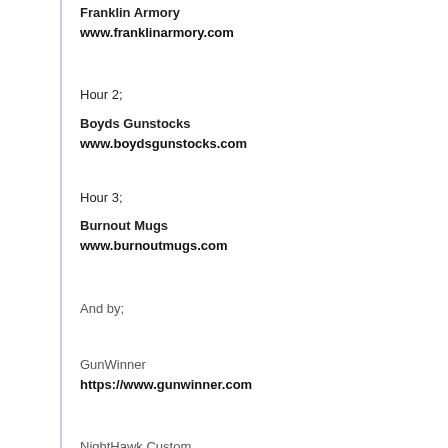Franklin Armory
www.franklinarmory.com
Hour 2;
Boyds Gunstocks
www.boydsgunstocks.com
Hour 3;
Burnout Mugs
www.burnoutmugs.com
And by;
GunWinner
https://www.gunwinner.com
NightHawk Custom
https://www.nighthawkcustom.com